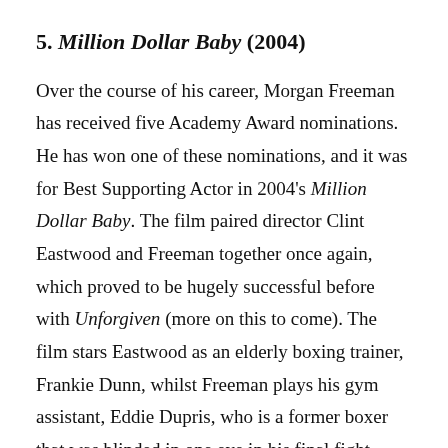5. Million Dollar Baby (2004)
Over the course of his career, Morgan Freeman has received five Academy Award nominations. He has won one of these nominations, and it was for Best Supporting Actor in 2004's Million Dollar Baby. The film paired director Clint Eastwood and Freeman together once again, which proved to be hugely successful before with Unforgiven (more on this to come). The film stars Eastwood as an elderly boxing trainer, Frankie Dunn, whilst Freeman plays his gym assistant, Eddie Dupris, who is a former boxer that was blinded in one eye in his final fight. Hilary Swank plays Maggie, a determined amateur boxer who Dunn takes under his wing to help atone for his previous mistakes. It is powerful, gripping,